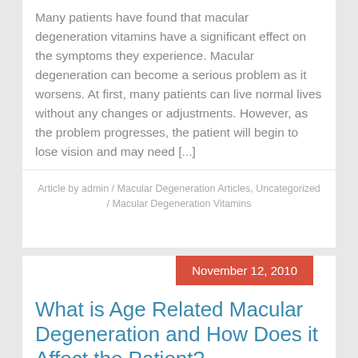Many patients have found that macular degeneration vitamins have a significant effect on the symptoms they experience. Macular degeneration can become a serious problem as it worsens. At first, many patients can live normal lives without any changes or adjustments. However, as the problem progresses, the patient will begin to lose vision and may need [...]
Article by admin / Macular Degeneration Articles, Uncategorized / Macular Degeneration Vitamins
November 12, 2010
What is Age Related Macular Degeneration and How Does it Affect the Patient?